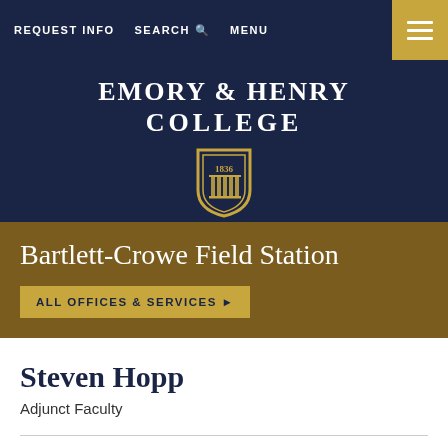REQUEST INFO   SEARCH   MENU
EMORY & HENRY COLLEGE
[Figure (logo): Emory & Henry College shield logo with '1836' text and column motif, blue and gold colors]
Bartlett-Crowe Field Station
ALL OFFICES & SERVICES ▶
Steven Hopp
Adjunct Faculty